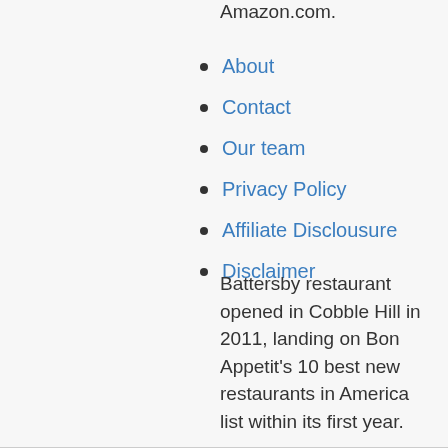Amazon.com.
About
Contact
Our team
Privacy Policy
Affiliate Disclousure
Disclaimer
Battersby restaurant opened in Cobble Hill in 2011, landing on Bon Appetit's 10 best new restaurants in America list within its first year.